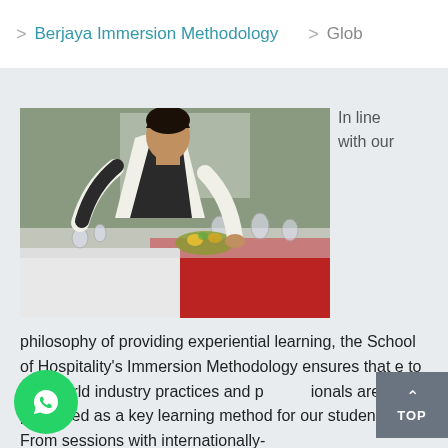> Berjaya Immersion Methodology  > Glob
[Figure (photo): A hospitality professional in a white shirt and black vest carefully setting or inspecting a formally laid dining table with wine glasses, white and red tablecloths, and floral centerpiece in a restaurant setting.]
In line with our
philosophy of providing experiential learning, the School of Hospitality's Immersion Methodology ensures that e to real-world industry practices and pionals are prioritised as a key learning method for our students. From sessions with internationally-